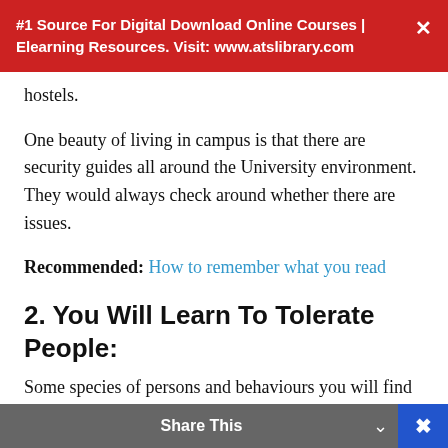#1 Source For Digital Download Online Courses | Elearning Resources. Visit: www.atslibrary.com
hostels.
One beauty of living in campus is that there are security guides all around the University environment. They would always check around whether there are issues.
Recommended: How to remember what you read
2. You Will Learn To Tolerate People:
Some species of persons and behaviours you will find in school hostels will make you wonder whether those guys were made in the image of God. However, you would be able to cope with and tolerate them.
Share This